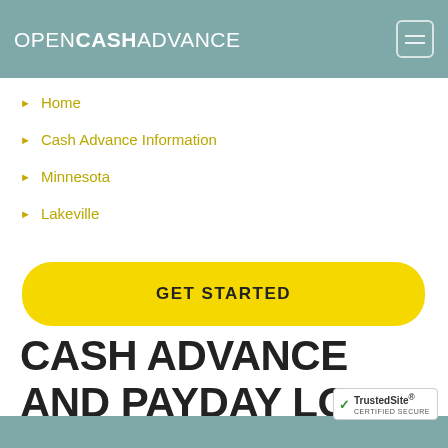OPENCASHADVANCE
Home
Cash Advance Information
Minnesota
Lakeville
GET STARTED
CASH ADVANCE AND PAYDAY LOANS IN LAKEVILLE, MN.
[Figure (logo): TrustedSite CERTIFIED SECURE badge]